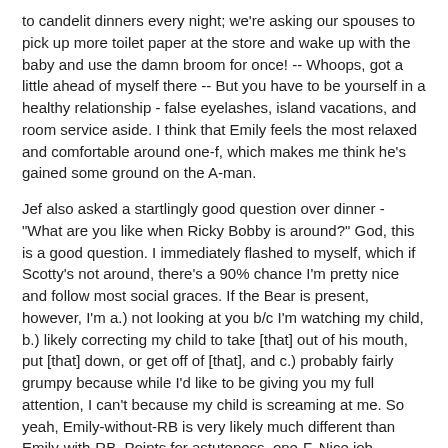to candelit dinners every night; we're asking our spouses to pick up more toilet paper at the store and wake up with the baby and use the damn broom for once! -- Whoops, got a little ahead of myself there -- But you have to be yourself in a healthy relationship - false eyelashes, island vacations, and room service aside. I think that Emily feels the most relaxed and comfortable around one-f, which makes me think he's gained some ground on the A-man.
Jef also asked a startlingly good question over dinner - "What are you like when Ricky Bobby is around?" God, this is a good question. I immediately flashed to myself, which if Scotty's not around, there's a 90% chance I'm pretty nice and follow most social graces. If the Bear is present, however, I'm a.) not looking at you b/c I'm watching my child, b.) likely correcting my child to take [that] out of his mouth, put [that] down, or get off of [that], and c.) probably fairly grumpy because while I'd like to be giving you my full attention, I can't because my child is screaming at me. So yeah, Emily-without-RB is very likely much different than Emily-with-RB. Points for astuteness, one-F. Nice job.
Interestingly, as noted earlier, Emily did not allow Sean to stay the night. He was forced to walk out into the darkness, back to his villa...